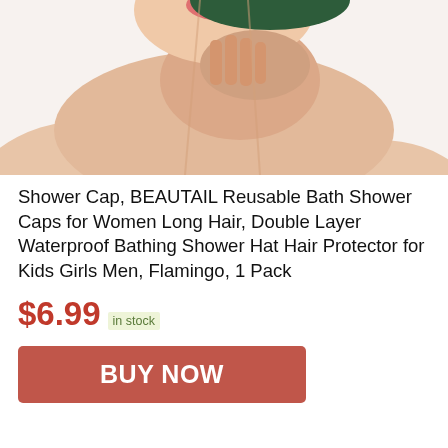[Figure (photo): Woman smiling, holding hands near her chin, wearing a dark shower cap on top of her head. Only the neck/shoulders and face bottom visible. White background.]
Shower Cap, BEAUTAIL Reusable Bath Shower Caps for Women Long Hair, Double Layer Waterproof Bathing Shower Hat Hair Protector for Kids Girls Men, Flamingo, 1 Pack
$6.99 in stock
BUY NOW